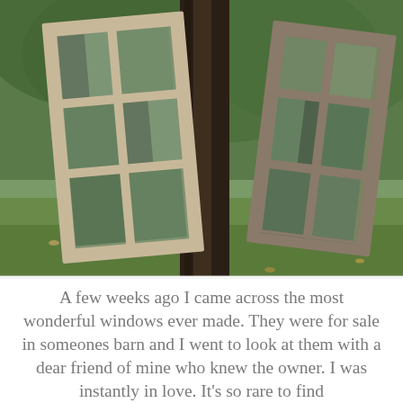[Figure (photo): Two antique wooden window frames leaning against a tree trunk on green grass. The left window is larger with white/cream painted wood and six panes in a 2x3 grid. The right window is smaller with grey/weathered wood and four panes in a 2x2 grid. The scene is outdoors with green trees and grass visible in the background and through the glass panes.]
A few weeks ago I came across the most wonderful windows ever made. They were for sale in someones barn and I went to look at them with a dear friend of mine who knew the owner. I was instantly in love. It's so rare to find